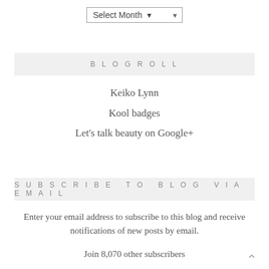Select Month
BLOGROLL
Keiko Lynn
Kool badges
Let's talk beauty on Google+
SUBSCRIBE TO BLOG VIA EMAIL
Enter your email address to subscribe to this blog and receive notifications of new posts by email.
Join 8,070 other subscribers